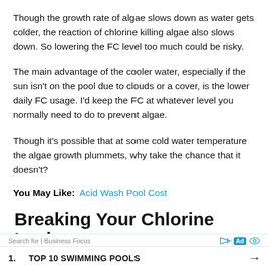Though the growth rate of algae slows down as water gets colder, the reaction of chlorine killing algae also slows down. So lowering the FC level too much could be risky.
The main advantage of the cooler water, especially if the sun isn't on the pool due to clouds or a cover, is the lower daily FC usage. I'd keep the FC at whatever level you normally need to do to prevent algae.
Though it's possible that at some cold water temperature the algae growth plummets, why take the chance that it doesn't?
You May Like:  Acid Wash Pool Cost
Breaking Your Chlorine Lock
Search for | Business Focus
1.  TOP 10 SWIMMING POOLS →